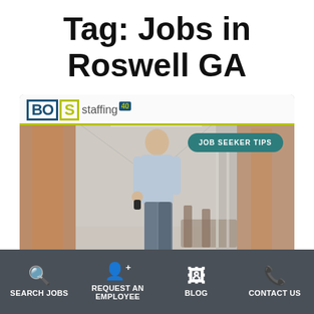Tag: Jobs in Roswell GA
[Figure (screenshot): BOS Staffing website screenshot showing a person walking in an office hallway with a 'JOB SEEKER TIPS' badge overlay]
SEARCH JOBS | REQUEST AN EMPLOYEE | BLOG | CONTACT US